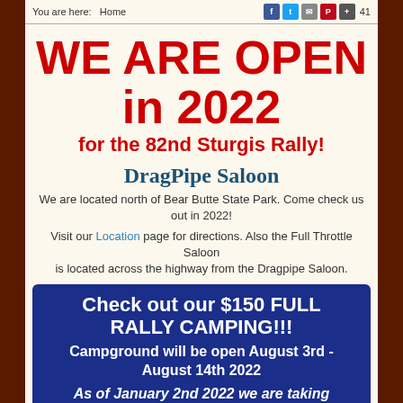You are here:  Home  [social icons] 41
WE ARE OPEN in 2022 for the 82nd Sturgis Rally!
DragPipe Saloon
We are located north of Bear Butte State Park. Come check us out in 2022!
Visit our Location page for directions. Also the Full Throttle Saloon is located across the highway from the Dragpipe Saloon.
Check out our $150 FULL RALLY CAMPING!!! Campground will be open August 3rd - August 14th 2022
As of January 2nd 2022 we are taking